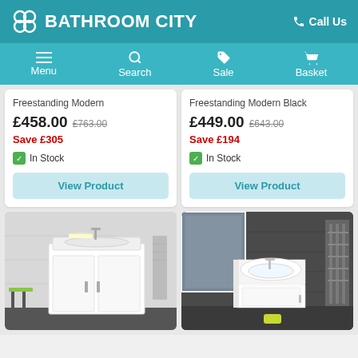BATHROOM CITY — Call Us
Menu | Search | Sale | Basket
Freestanding Modern
£458.00 £763.00
Save £305
In Stock
Freestanding Modern Black
£449.00 £643.00
Save £194
In Stock
[Figure (photo): White freestanding bathroom vanity unit with sink and cabinet doors, shown in a grey-tiled bathroom setting]
[Figure (photo): White corner vanity basin unit with curved design shown in a dark grey tiled bathroom with a large mirror and towel radiator]